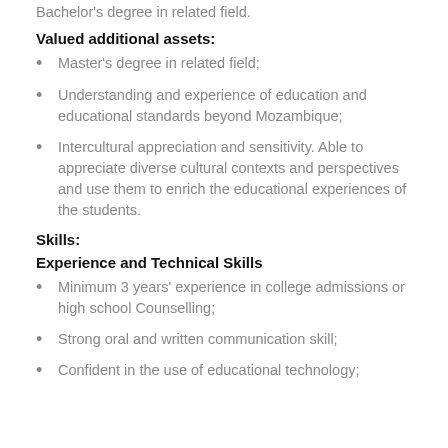Bachelor's degree in related field.
Valued additional assets:
Master's degree in related field;
Understanding and experience of education and educational standards beyond Mozambique;
Intercultural appreciation and sensitivity. Able to appreciate diverse cultural contexts and perspectives and use them to enrich the educational experiences of the students.
Skills:
Experience and Technical Skills
Minimum 3 years' experience in college admissions or high school Counselling;
Strong oral and written communication skill;
Confident in the use of educational technology;